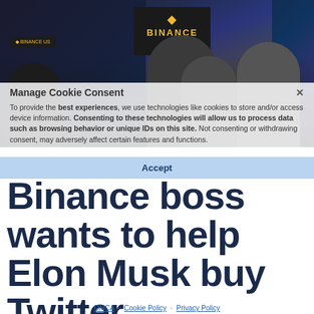[Figure (photo): Photo of people at a Binance US expo/conference booth with dark background and colorful light beams. Overlaid by a cookie consent modal.]
Manage Cookie Consent
To provide the best experiences, we use technologies like cookies to store and/or access device information. Consenting to these technologies will allow us to process data such as browsing behavior or unique IDs on this site. Not consenting or withdrawing consent, may adversely affect certain features and functions.
Accept
Binance boss wants to help Elon Musk buy Twitter
DMCA · Cookie Policy · Privacy Policy